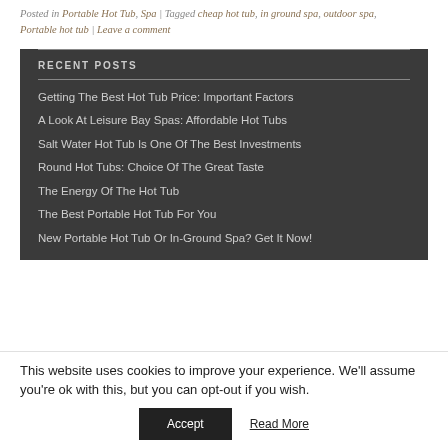Posted in Portable Hot Tub, Spa | Tagged cheap hot tub, in ground spa, outdoor spa, Portable hot tub | Leave a comment
RECENT POSTS
Getting The Best Hot Tub Price: Important Factors
A Look At Leisure Bay Spas: Affordable Hot Tubs
Salt Water Hot Tub Is One Of The Best Investments
Round Hot Tubs: Choice Of The Great Taste
The Energy Of The Hot Tub
The Best Portable Hot Tub For You
New Portable Hot Tub Or In-Ground Spa? Get It Now!
This website uses cookies to improve your experience. We'll assume you're ok with this, but you can opt-out if you wish.